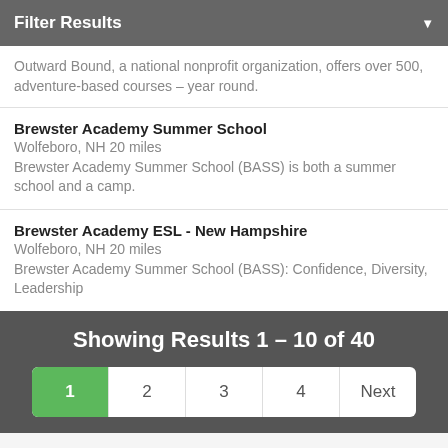Filter Results
Outward Bound, a national nonprofit organization, offers over 500, adventure-based courses – year round.
Brewster Academy Summer School
Wolfeboro, NH 20 miles
Brewster Academy Summer School (BASS) is both a summer school and a camp.
Brewster Academy ESL - New Hampshire
Wolfeboro, NH 20 miles
Brewster Academy Summer School (BASS): Confidence, Diversity, Leadership
Showing Results 1 – 10 of 40